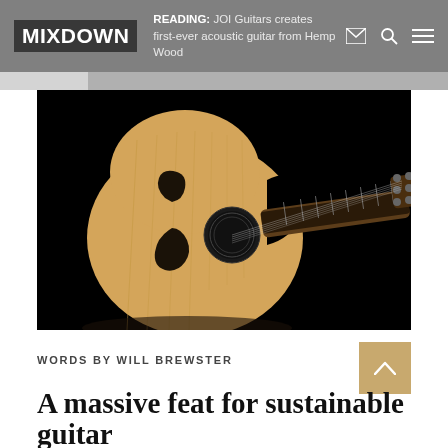MIXDOWN | READING: JOI Guitars creates first-ever acoustic guitar from Hemp Wood
[Figure (photo): An acoustic guitar with a large rounded body, unusual sound hole shape, and cutaway, photographed against a black background. The guitar has a natural wood finish top and a dark fretboard extending to the right.]
WORDS BY WILL BREWSTER
A massive feat for sustainable guitar